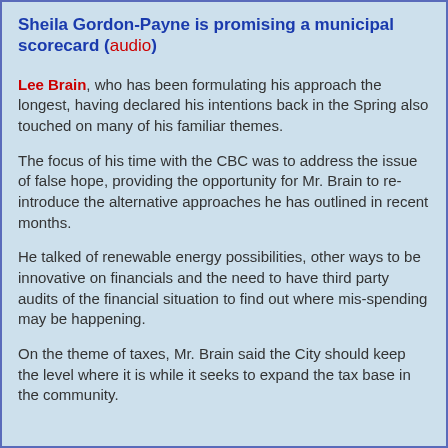Sheila Gordon-Payne is promising a municipal scorecard (audio)
Lee Brain, who has been formulating his approach the longest, having declared his intentions back in the Spring also touched on many of his familiar themes.
The focus of his time with the CBC was to address the issue of false hope, providing the opportunity for Mr. Brain to re-introduce the alternative approaches he has outlined in recent months.
He talked of renewable energy possibilities, other ways to be innovative on financials and the need to have third party audits of the financial situation to find out where mis-spending may be happening.
On the theme of taxes, Mr. Brain said the City should keep the level where it is while it seeks to expand the tax base in the community.